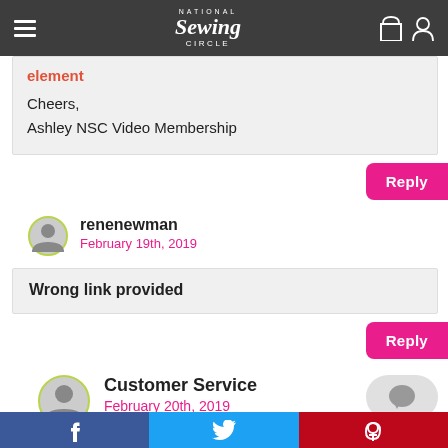National Sewing Circle
element

Cheers,
Ashley NSC Video Membership
Reply
renenewman
February 19th, 2019
Wrong link provided
Reply
Customer Service
February 20th, 2019
f  t  p